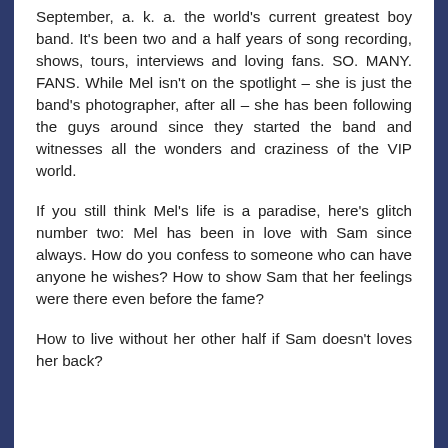September, a. k. a. the world's current greatest boy band. It's been two and a half years of song recording, shows, tours, interviews and loving fans. SO. MANY. FANS. While Mel isn't on the spotlight – she is just the band's photographer, after all – she has been following the guys around since they started the band and witnesses all the wonders and craziness of the VIP world.
If you still think Mel's life is a paradise, here's glitch number two: Mel has been in love with Sam since always. How do you confess to someone who can have anyone he wishes? How to show Sam that her feelings were there even before the fame?
How to live without her other half if Sam doesn't loves her back?